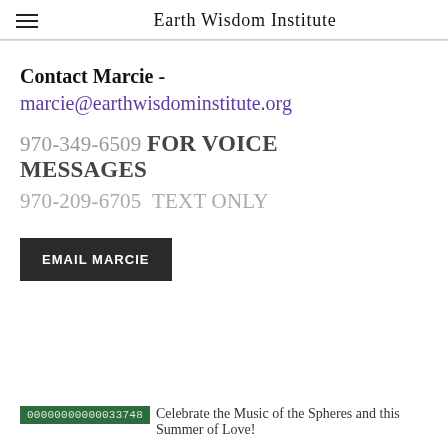Earth Wisdom Institute
Contact Marcie - marcie@earthwisdominstitute.org
970-349-6509 FOR VOICE MESSAGES
970-209-6705  TEXT ONLY
EMAIL MARCIE
00000000000033748  Celebrate the Music of the Spheres and this Summer of Love!